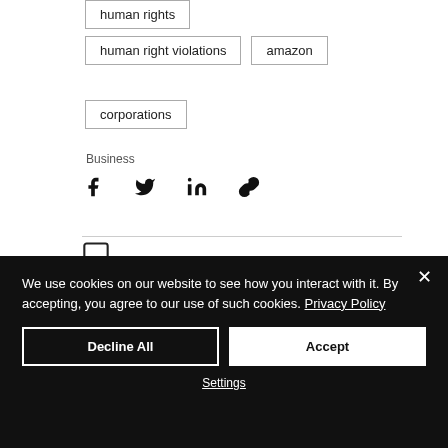human rights
human right violations
amazon
corporations
Business
[Figure (infographic): Social share icons: Facebook, Twitter, LinkedIn, link/copy]
[Figure (infographic): Comment/speech bubble icon]
We use cookies on our website to see how you interact with it. By accepting, you agree to our use of such cookies. Privacy Policy
Decline All
Accept
Settings